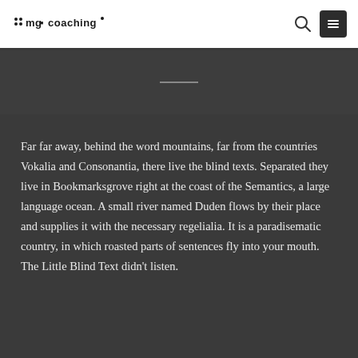mg coaching
Far far away, behind the word mountains, far from the countries Vokalia and Consonantia, there live the blind texts. Separated they live in Bookmarksgrove right at the coast of the Semantics, a large language ocean. A small river named Duden flows by their place and supplies it with the necessary regelialia. It is a paradisematic country, in which roasted parts of sentences fly into your mouth. The Little Blind Text didn't listen.